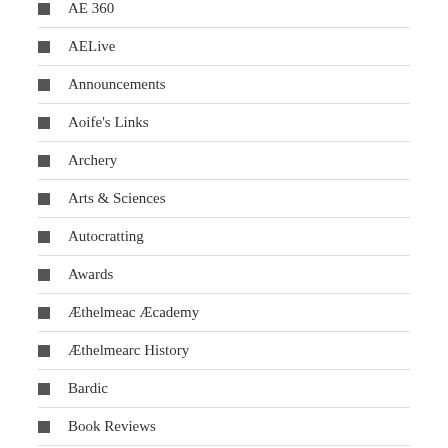AE 360
AELive
Announcements
Aoife's Links
Archery
Arts & Sciences
Autocratting
Awards
Æthelmeac Æcademy
Æthelmearc History
Bardic
Book Reviews
Brewing
Camping
Combat Archery